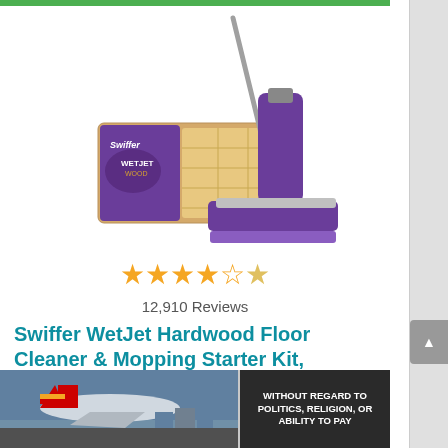[Figure (photo): Swiffer WetJet Wood product photo showing purple mop and product box on white background]
★★★★✩  12,910 Reviews
Swiffer WetJet Hardwood Floor Cleaner & Mopping Starter Kit, Includes: 1 Mop, 10...
[Figure (logo): Amazon Prime logo with orange checkmark and blue italic Prime text]
[Figure (photo): Advertisement banner showing airplane cargo loading with text WITHOUT REGARD TO POLITICS, RELIGION, OR ABILITY TO PAY]